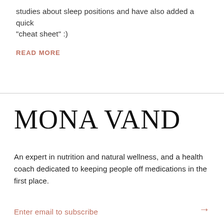studies about sleep positions and have also added a quick "cheat sheet" :)
READ MORE
MONA VAND
An expert in nutrition and natural wellness, and a health coach dedicated to keeping people off medications in the first place.
Enter email to subscribe →